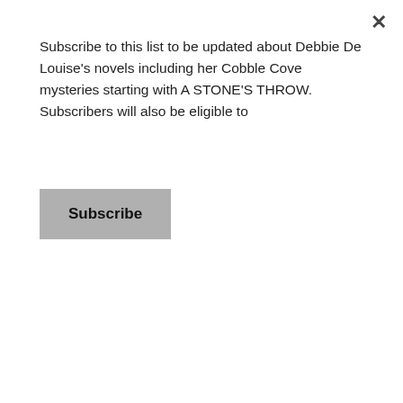Subscribe to this list to be updated about Debbie De Louise's novels including her Cobble Cove mysteries starting with A STONE'S THROW. Subscribers will also be eligible to
Subscribe
Pinterest: http://www.pinterest.com/marley/
BookBub: https://www.bookbub.com/profile/allison-brook
BookBub: https://www.bookbub.com/authors/marilyn-levinson
Instagram: https://www.instagram.com/marlev4/